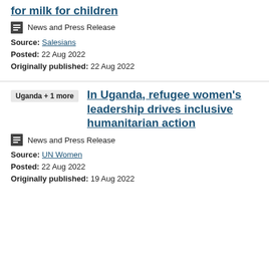for milk for children
News and Press Release
Source: Salesians
Posted: 22 Aug 2022
Originally published: 22 Aug 2022
Uganda + 1 more
In Uganda, refugee women's leadership drives inclusive humanitarian action
News and Press Release
Source: UN Women
Posted: 22 Aug 2022
Originally published: 19 Aug 2022